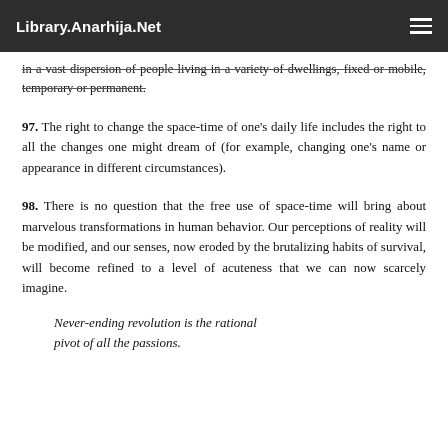Library.Anarhija.Net
in a vast dispersion of people living in a variety of dwellings, fixed or mobile, temporary or permanent.
97. The right to change the space-time of one's daily life includes the right to all the changes one might dream of (for example, changing one's name or appearance in different circumstances).
98. There is no question that the free use of space-time will bring about marvelous transformations in human behavior. Our perceptions of reality will be modified, and our senses, now eroded by the brutalizing habits of survival, will become refined to a level of acuteness that we can now scarcely imagine.
Never-ending revolution is the rational pivot of all the passions.